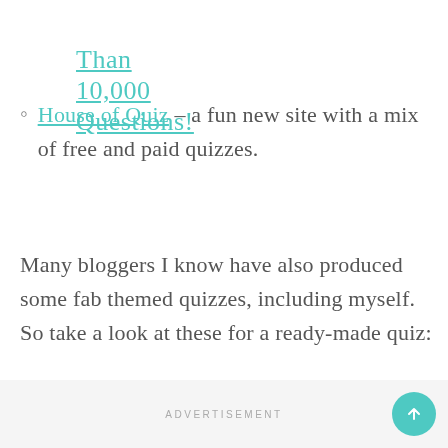Than 10,000 Questions!
House of Quiz – a fun new site with a mix of free and paid quizzes.
Many bloggers I know have also produced some fab themed quizzes, including myself. So take a look at these for a ready-made quiz:
ADVERTISEMENT